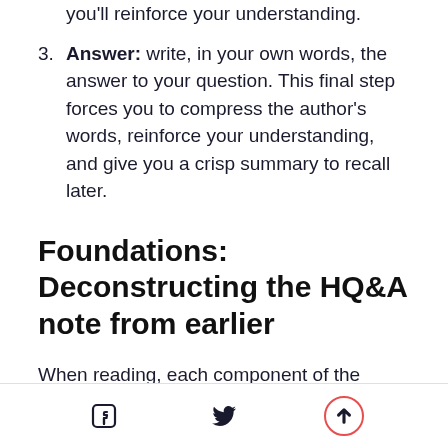you'll reinforce your understanding.
Answer: write, in your own words, the answer to your question. This final step forces you to compress the author's words, reinforce your understanding, and give you a crisp summary to recall later.
Foundations: Deconstructing the HQ&A note from earlier
When reading, each component of the HQ&A note serves to improve your memory, focus and understanding:
[Facebook icon] [Twitter icon] [Scroll to top]